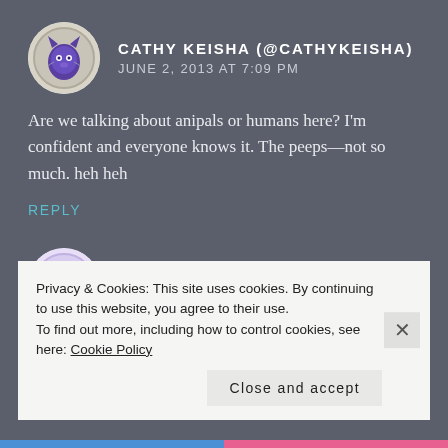CATHY KEISHA (@CATHYKEISHA)
JUNE 2, 2013 AT 7:09 PM
Are we talking about anipals or humans here? I'm confident and everyone knows it. The peeps—not so much. heh heh
REPLY
PHANTOM, THUNDER, CIARA, AND LIGHTNING
JUNE 2, 2013 AT 7:36 PM
Great message, Dede. We are also so glad that Jen was able to rescue from that trash.
Privacy & Cookies: This site uses cookies. By continuing to use this website, you agree to their use.
To find out more, including how to control cookies, see here: Cookie Policy
Close and accept